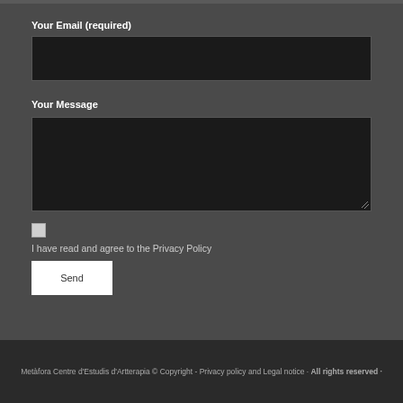Your Email (required)
[Figure (screenshot): Empty email input field with dark background]
Your Message
[Figure (screenshot): Empty message textarea with dark background and resize handle]
I have read and agree to the Privacy Policy
Send
Metàfora Centre d'Estudis d'Artterapia © Copyright - Privacy policy and Legal notice · All rights reserved ·